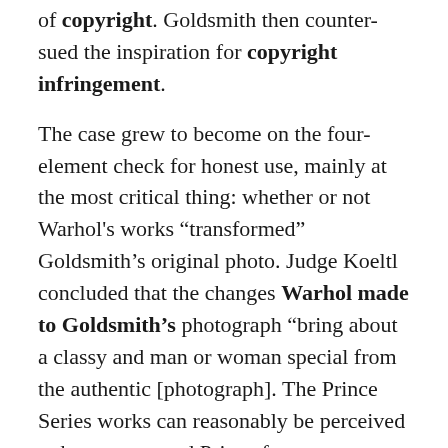the Prince Series became now not in violation of copyright. Goldsmith then counter-sued the inspiration for copyright infringement.
The case grew to become on the four-element check for honest use, mainly at the most critical thing: whether or not Warhol's works "transformed" Goldsmith's original photo. Judge Koeltl concluded that the changes Warhol made to Goldsmith's photograph "bring about a classy and man or woman special from the authentic [photograph]. The Prince Series works can reasonably be perceived to have converted Prince from a susceptible, uncomfortable person [as he appears in Goldsmith's photograph] to an iconic, larger-than-lifestyles discern. The humanity Prince embodies in Goldsmith's image is long past. Moreover, each Prince Series work is at once